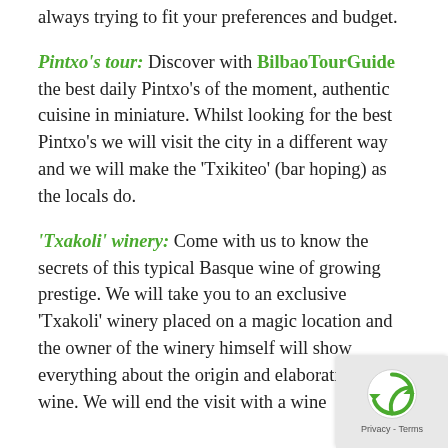always trying to fit your preferences and budget.
Pintxo's tour: Discover with BilbaoTourGuide the best daily Pintxo's of the moment, authentic cuisine in miniature. Whilst looking for the best Pintxo's we will visit the city in a different way and we will make the 'Txikiteo' (bar hoping) as the locals do.
'Txakoli' winery: Come with us to know the secrets of this typical Basque wine of growing prestige. We will take you to an exclusive 'Txakoli' winery placed on a magic location and the owner of the winery himself will show everything about the origin and elaboration of this wine. We will end the visit with a wine
[Figure (other): Google reCAPTCHA badge overlay in bottom-right corner showing the reCAPTCHA logo and 'Privacy - Terms' text]